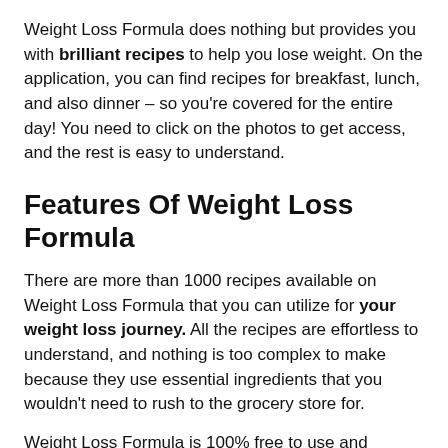Weight Loss Formula does nothing but provides you with brilliant recipes to help you lose weight. On the application, you can find recipes for breakfast, lunch, and also dinner – so you're covered for the entire day! You need to click on the photos to get access, and the rest is easy to understand.
Features Of Weight Loss Formula
There are more than 1000 recipes available on Weight Loss Formula that you can utilize for your weight loss journey. All the recipes are effortless to understand, and nothing is too complex to make because they use essential ingredients that you wouldn't need to rush to the grocery store for.
Weight Loss Formula is 100% free to use and download. You can only find the application on Play Store for now if you use an Android phone.
Mealime: Meal Planner, Recipes